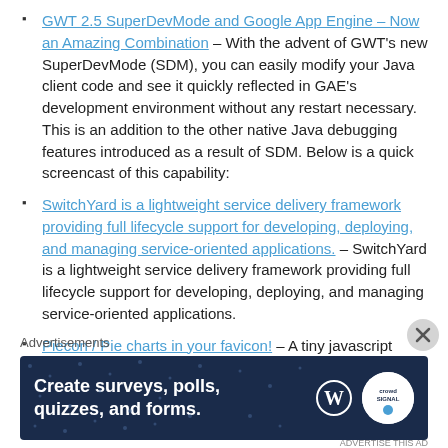GWT 2.5 SuperDevMode and Google App Engine – Now an Amazing Combination – With the advent of GWT's new SuperDevMode (SDM), you can easily modify your Java client code and see it quickly reflected in GAE's development environment without any restart necessary. This is an addition to the other native Java debugging features introduced as a result of SDM. Below is a quick screencast of this capability:
SwitchYard is a lightweight service delivery framework providing full lifecycle support for developing, deploying, and managing service-oriented applications. – SwitchYard is a lightweight service delivery framework providing full lifecycle support for developing, deploying, and managing service-oriented applications.
Piecon / Pie charts in your favicon! – A tiny javascript library for dynamically generating pie
Advertisements
[Figure (infographic): Advertisement banner: dark navy background with white bold text 'Create surveys, polls, quizzes, and forms.' and WordPress and CrowdSignal logos on the right.]